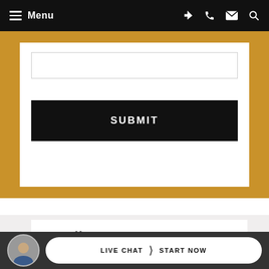Menu
[Figure (screenshot): Web form area with input field and SUBMIT button on gold/yellow background]
Our Offices
Little Rock Office
10800 Financial Centre Parkway
LIVE CHAT  START NOW